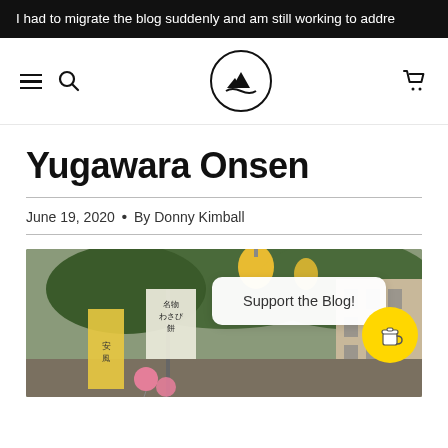I had to migrate the blog suddenly and am still working to addre
[Figure (screenshot): Blog navigation bar with hamburger menu, search icon, circular mountain/landscape logo, and cart icon]
Yugawara Onsen
June 19, 2020 • By Donny Kimball
[Figure (photo): Street scene in Yugawara Onsen with Japanese signs including wasabi mochi shop, lanterns, pink balloons, buildings and green trees in background. Has a 'Support the Blog!' overlay box and a yellow coffee cup button.]